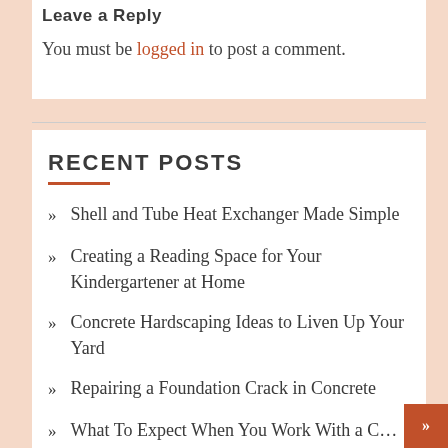Leave a Reply
You must be logged in to post a comment.
RECENT POSTS
Shell and Tube Heat Exchanger Made Simple
Creating a Reading Space for Your Kindergartener at Home
Concrete Hardscaping Ideas to Liven Up Your Yard
Repairing a Foundation Crack in Concrete
What To Expect When You Work With a C...